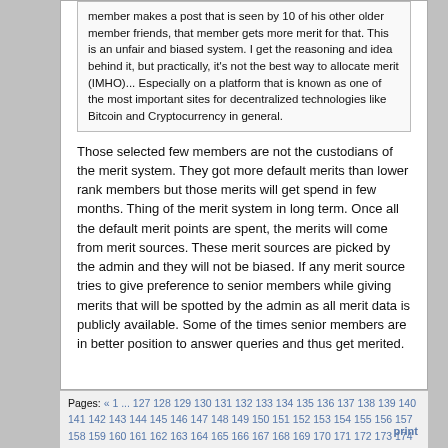member makes a post that is seen by 10 of his other older member friends, that member gets more merit for that. This is an unfair and biased system. I get the reasoning and idea behind it, but practically, it's not the best way to allocate merit (IMHO)... Especially on a platform that is known as one of the most important sites for decentralized technologies like Bitcoin and Cryptocurrency in general.
Those selected few members are not the custodians of the merit system. They got more default merits than lower rank members but those merits will get spend in few months. Thing of the merit system in long term. Once all the default merit points are spent, the merits will come from merit sources. These merit sources are picked by the admin and they will not be biased. If any merit source tries to give preference to senior members while giving merits that will be spotted by the admin as all merit data is publicly available. Some of the times senior members are in better position to answer queries and thus get merited.
Pages: « 1 ... 127 128 129 130 131 132 133 134 135 136 137 138 139 140 141 142 143 144 145 146 147 148 149 150 151 152 153 154 155 156 157 158 159 160 161 162 163 164 165 166 167 168 169 170 171 172 173 174 175 176 [177] 178 179 180 181 182 183 184 185 186 187 188 189 190 191 192 193 194 195 196 197 198 199 200 201 202 203 204 205 206 207 208 209 210 211 212 213 214 215 216 217 218 219 220 221 222 223 224 225 226 227 ... print